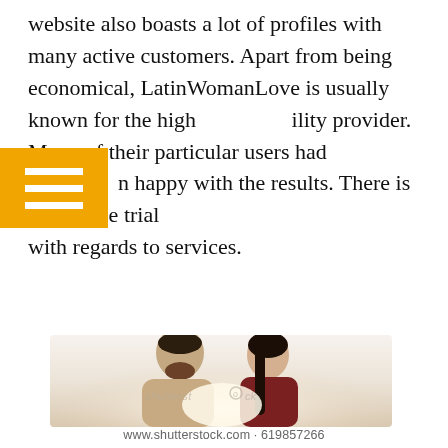website also boasts a lot of profiles with many active customers. Apart from being economical, LatinWomanLove is usually known for the high ility provider. Many of their particular users had n happy with the results. There is also a free trial with regards to services.
[Figure (photo): A couple about to kiss, man with beard and woman with long dark hair, bright backlight. Shutterstock watermark visible.]
www.shutterstock.com · 619857266